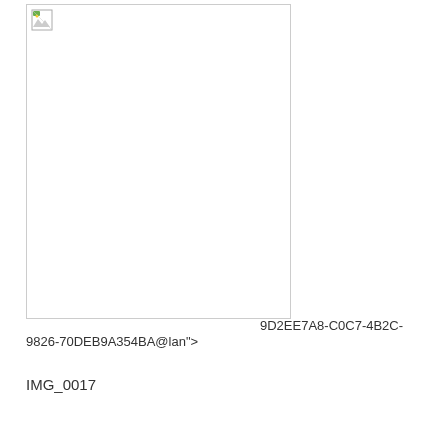[Figure (photo): Broken/missing image placeholder icon in top-left corner of a white rectangle with border]
9D2EE7A8-C0C7-4B2C-9826-70DEB9A354BA@lan">
IMG_0017